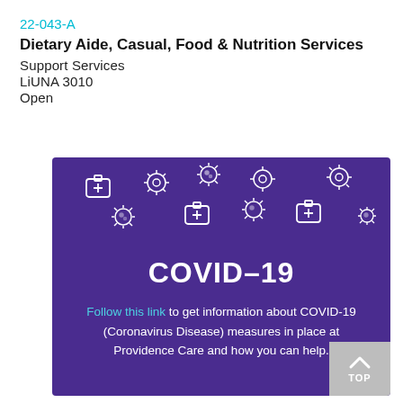22-043-A
Dietary Aide, Casual, Food & Nutrition Services
Support Services
LiUNA 3010
Open
[Figure (infographic): Purple COVID-19 banner with virus and medical kit icons, large COVID-19 title, and text: Follow this link to get information about COVID-19 (Coronavirus Disease) measures in place at Providence Care and how you can help.]